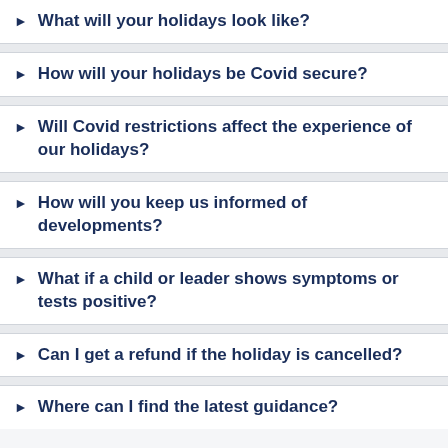What will your holidays look like?
How will your holidays be Covid secure?
Will Covid restrictions affect the experience of our holidays?
How will you keep us informed of developments?
What if a child or leader shows symptoms or tests positive?
Can I get a refund if the holiday is cancelled?
Where can I find the latest guidance?